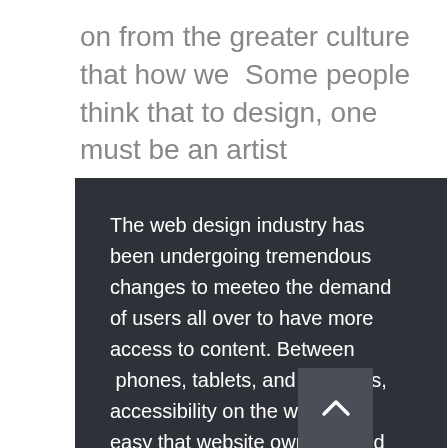on from the greater culture that how we  Some people think that to design, one must be an artist
The web design industry has been undergoing tremendous changes to meeteo the demand of users all over to have more access to content. Between  phones, tablets, and desktops, accessibility on the web is so easy that website owners need to ensure.